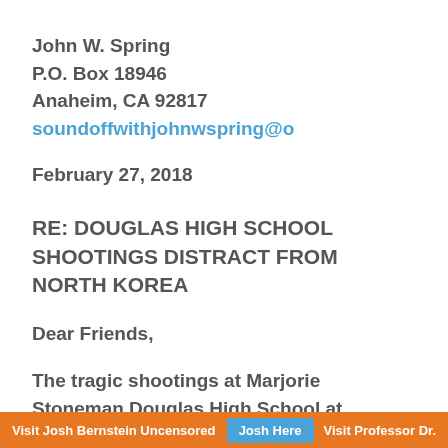John W. Spring
P.O. Box 18946
Anaheim, CA 92817
soundoffwithjohnwspring@o...
February 27, 2018
RE: DOUGLAS HIGH SCHOOL SHOOTINGS DISTRACT FROM NORTH KOREA
Dear Friends,
The tragic shootings at Marjorie Stoneman Douglas High School at Parkland in
Visit Josh Bernstein Uncensored  Josh Here  Visit Professor Dr.